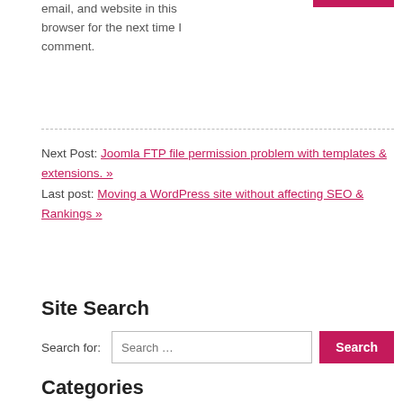email, and website in this browser for the next time I comment.
Next Post: Joomla FTP file permission problem with templates & extensions. »
Last post: Moving a WordPress site without affecting SEO & Rankings »
Site Search
Search for: Search …
Categories